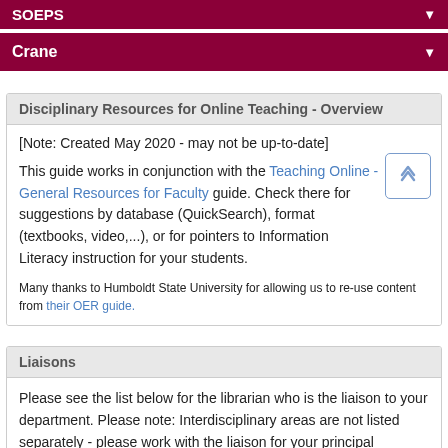SOEPS
Crane
Disciplinary Resources for Online Teaching - Overview
[Note: Created May 2020 - may not be up-to-date]
This guide works in conjunction with the Teaching Online - General Resources for Faculty guide.  Check there for suggestions by database (QuickSearch), format (textbooks, video,...), or for pointers to Information Literacy instruction for your students.
Many thanks to Humboldt State University for allowing us to re-use content from their OER guide.
Liaisons
Please see the list below for the librarian who is the liaison to your department.  Please note: Interdisciplinary areas are not listed separately - please work with the liaison for your principal department.